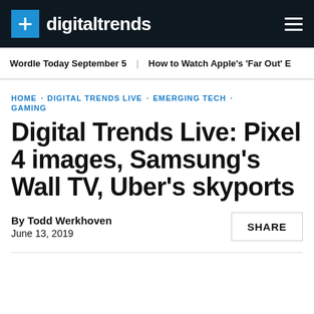digitaltrends
Wordle Today September 5   How to Watch Apple's 'Far Out' E
HOME · DIGITAL TRENDS LIVE · EMERGING TECH · GAMING
Digital Trends Live: Pixel 4 images, Samsung's Wall TV, Uber's skyports
By Todd Werkhoven
June 13, 2019